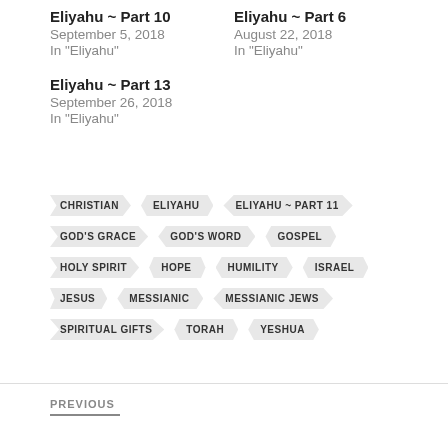Eliyahu ~ Part 10
September 5, 2018
In "Eliyahu"
Eliyahu ~ Part 6
August 22, 2018
In "Eliyahu"
Eliyahu ~ Part 13
September 26, 2018
In "Eliyahu"
CHRISTIAN
ELIYAHU
ELIYAHU ~ PART 11
GOD'S GRACE
GOD'S WORD
GOSPEL
HOLY SPIRIT
HOPE
HUMILITY
ISRAEL
JESUS
MESSIANIC
MESSIANIC JEWS
SPIRITUAL GIFTS
TORAH
YESHUA
PREVIOUS